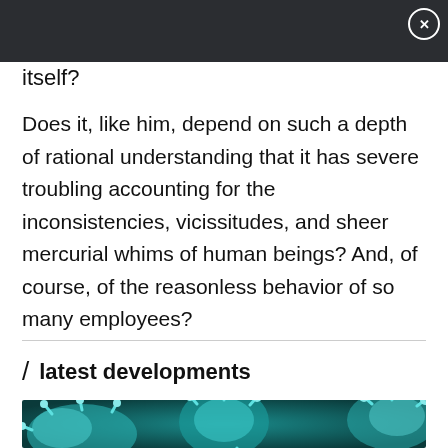itself?
Does it, like him, depend on such a depth of rational understanding that it has severe troubling accounting for the inconsistencies, vicissitudes, and sheer mercurial whims of human beings? And, of course, of the reasonless behavior of so many employees?
/ latest developments
[Figure (photo): Close-up microscope image of teal/cyan colored virus particles against a dark teal background]